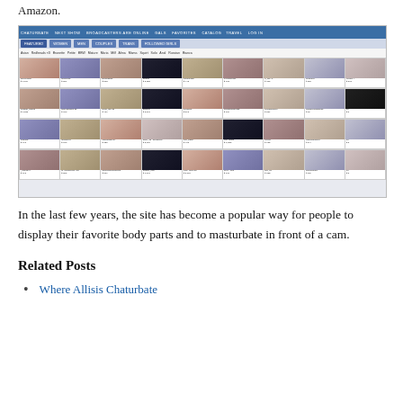Amazon.
[Figure (screenshot): Screenshot of Chaturbate website showing a grid of webcam performer thumbnails with usernames, viewer counts, and profile information. The interface has a blue header navigation bar with tabs for FEATURED, WOMEN, MEN, COUPLES, TRANS, FOLLOWED GIRLS, and a row of tag/category filters below.]
In the last few years, the site has become a popular way for people to display their favorite body parts and to masturbate in front of a cam.
Related Posts
Where Allisis Chaturbate